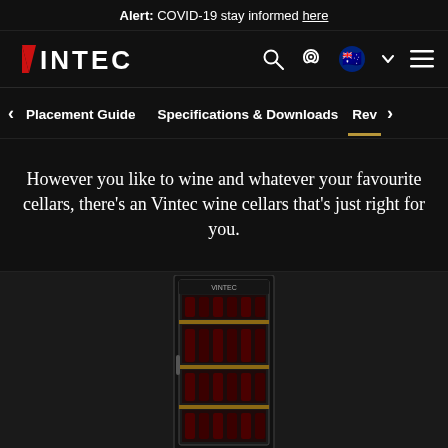Alert: COVID-19 stay informed here
[Figure (screenshot): Vintec brand logo with red V and white INTEC text, navigation icons including search, location, Australian flag with dropdown, and hamburger menu]
< Placement Guide   Specifications & Downloads   Rev >
However you like to wine and whatever your favourite cellars, there's an Vintec wine cellars that's just right for you.
[Figure (photo): Vintec wine cabinet refrigerator with multiple shelves holding wine bottles, black exterior with glass door, partially visible from bottom]